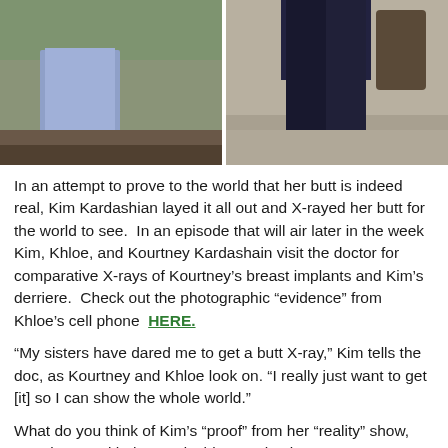[Figure (photo): Two side-by-side photos: left shows a person in blue jeans and brown boots on a green/brown background; right shows a person in dark navy trousers on a pavement background.]
In an attempt to prove to the world that her butt is indeed real, Kim Kardashian layed it all out and X-rayed her butt for the world to see.  In an episode that will air later in the week Kim, Khloe, and Kourtney Kardashain visit the doctor for comparative X-rays of Kourtney's breast implants and Kim's derriere.  Check out the photographic “evidence” from Khloe’s cell phone  HERE.
“My sisters have dared me to get a butt X-ray,” Kim tells the doc, as Kourtney and Khloe look on. “I really just want to get [it] so I can show the whole world.”
What do you think of Kim’s “proof” from her “reality” show, Keeping up with the Kardashians? Check out some great